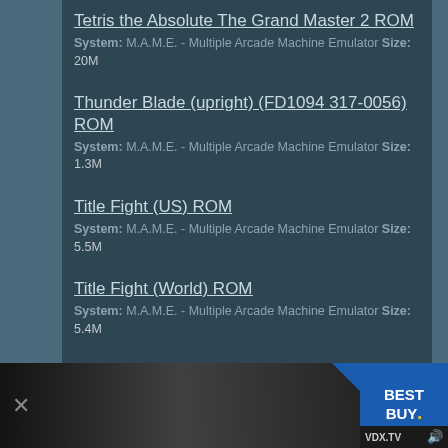Tetris the Absolute The Grand Master 2 ROM
System: M.A.M.E. - Multiple Arcade Machine Emulator Size: 20M
Thunder Blade (upright) (FD1094 317-0056) ROM
System: M.A.M.E. - Multiple Arcade Machine Emulator Size: 1.3M
Title Fight (US) ROM
System: M.A.M.E. - Multiple Arcade Machine Emulator Size: 5.5M
Title Fight (World) ROM
System: M.A.M.E. - Multiple Arcade Machine Emulator Size: 5.4M
Touchmaster 8000 (v9.04 Standard) ROM
System: M.A.M.E. - Multiple Arcade Machine Emulator Size: 4.6M
Teenage Mutant Ninja Turtles - Turtles in Time
[Figure (screenshot): Advertisement banner at bottom of page showing a video ad with people and Best Buy logo with VDX.TV branding]